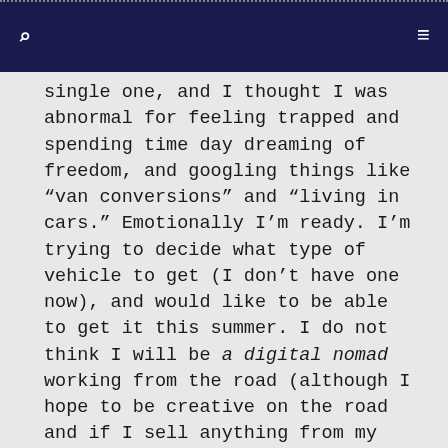Navigation bar with search and menu icons
single one, and I thought I was abnormal for feeling trapped and spending time day dreaming of freedom, and googling things like “van conversions” and “living in cars.” Emotionally I’m ready. I’m trying to decide what type of vehicle to get (I don’t have one now), and would like to be able to get it this summer. I do not think I will be a digital nomad working from the road (although I hope to be creative on the road and if I sell anything from my creative pursuits – bonus!) and may have to wait an excruciating 5 years until I can retire